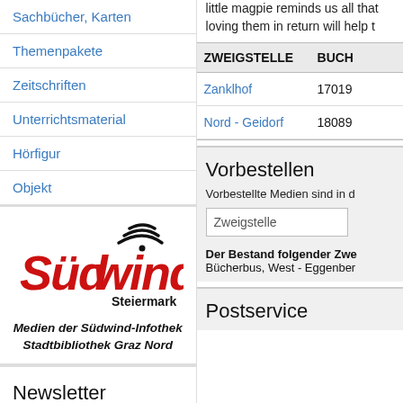Sachbücher, Karten
Themenpakete
Zeitschriften
Unterrichtsmaterial
Hörfigur
Objekt
[Figure (logo): Südwind Steiermark logo with red stylized text and black wifi/signal icon above. Below: Medien der Südwind-Infothek Stadtbibliothek Graz Nord]
Newsletter
Der Newsletter informiert Sie über
little magpie reminds us all that loving them in return will help t
| ZWEIGSTELLE | BUCH |
| --- | --- |
| Zanklhof | 17019 |
| Nord - Geidorf | 18089 |
Vorbestellen
Vorbestellte Medien sind in d
Zweigstelle
Der Bestand folgender Zweigstellen Bücherbus, West - Eggenber
Postservice